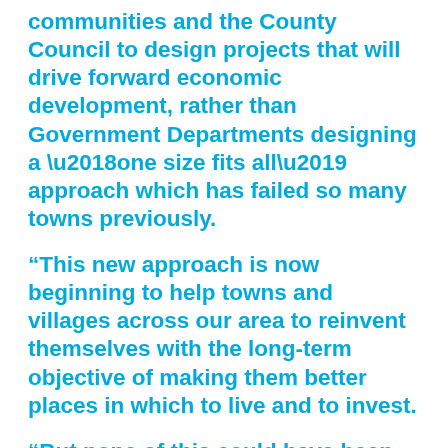communities and the County Council to design projects that will drive forward economic development, rather than Government Departments designing a ‘one size fits all’ approach which has failed so many towns previously.
“This new approach is now beginning to help towns and villages across our area to reinvent themselves with the long-term objective of making them better places in which to live and to invest.
“But none of this could have been possible without the work and commitment of the Town Team and the support provided to it by Derbyshire County Council and the local